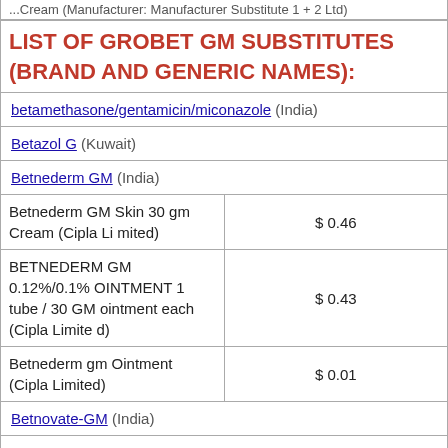... Cream (Manufacturer: Manufacturer Substitute 1 + 2 Ltd)
LIST OF GROBET GM SUBSTITUTES (BRAND AND GENERIC NAMES):
| Name | Price |
| --- | --- |
| betamethasone/gentamicin/miconazole (India) |  |
| Betazol G (Kuwait) |  |
| Betnederm GM (India) |  |
| Betnederm GM Skin 30 gm Cream (Cipla Limited) | $ 0.46 |
| BETNEDERM GM 0.12%/0.1% OINTMENT 1 tube / 30 GM ointment each (Cipla Limited) | $ 0.43 |
| Betnederm gm Ointment (Cipla Limited) | $ 0.01 |
| Betnovate-GM (India) |  |
| Betnovate-GM Betamethasone valerate 0.12 |  |